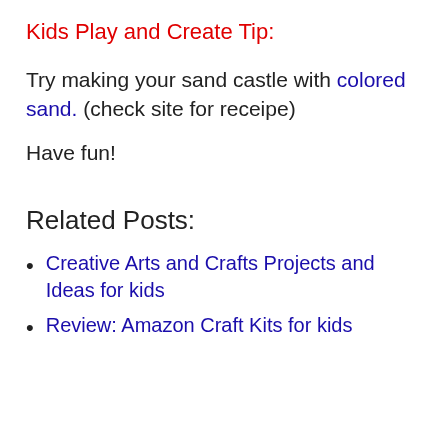Kids Play and Create Tip:
Try making your sand castle with colored sand. (check site for receipe)
Have fun!
Related Posts:
Creative Arts and Crafts Projects and Ideas for kids
[partially visible link]